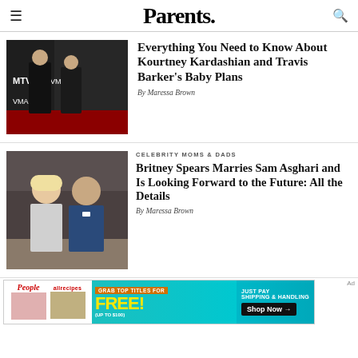Parents.
[Figure (photo): Kourtney Kardashian and Travis Barker at MTV VMAs red carpet]
Everything You Need to Know About Kourtney Kardashian and Travis Barker's Baby Plans
By Maressa Brown
CELEBRITY MOMS & DADS
[Figure (photo): Britney Spears and Sam Asghari at a formal event]
Britney Spears Marries Sam Asghari and Is Looking Forward to the Future: All the Details
By Maressa Brown
[Figure (other): Advertisement banner: Grab top titles for FREE (up to $100), Just Pay Shipping & Handling, Shop Now]